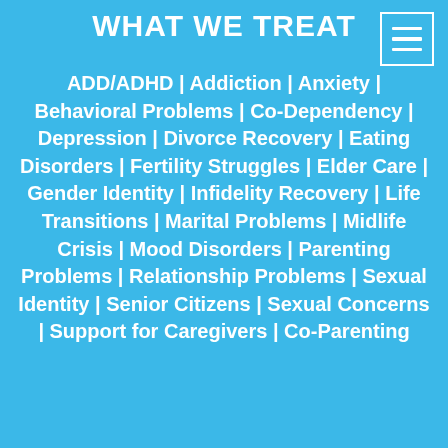WHAT WE TREAT
ADD/ADHD | Addiction | Anxiety | Behavioral Problems | Co-Dependency | Depression | Divorce Recovery | Eating Disorders | Fertility Struggles | Elder Care | Gender Identity | Infidelity Recovery | Life Transitions | Marital Problems | Midlife Crisis | Mood Disorders | Parenting Problems | Relationship Problems | Sexual Identity | Senior Citizens | Sexual Concerns | Support for Caregivers | Co-Parenting
[Figure (other): Hamburger menu icon — three horizontal white lines inside a white-bordered rectangle, positioned top-right corner]